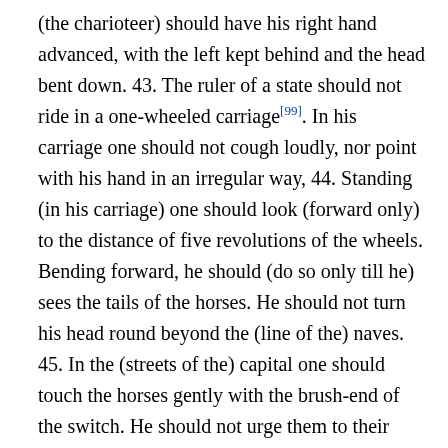(the charioteer) should have his right hand advanced, with the left kept behind and the head bent down. 43. The ruler of a state should not ride in a one-wheeled carriage[99]. In his carriage one should not cough loudly, nor point with his hand in an irregular way, 44. Standing (in his carriage) one should look (forward only) to the distance of five revolutions of the wheels. Bending forward, he should (do so only till he) sees the tails of the horses. He should not turn his head round beyond the (line of the) naves. 45. In the (streets of the) capital one should touch the horses gently with the brush-end of the switch. He should not urge them to their speed. The dust should not fly beyond the ruts. 46. The ruler of a state should bend towards the cross-board when he meets a sacrificial victim, and dismount (in passing) the ancestral temple. A great officer or (other) officer should descend (when he comes to) the ruler s gate, and bend forward to the rulers horses[100]. 47.